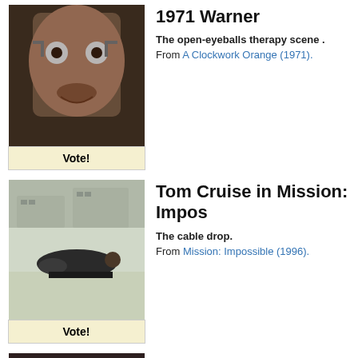[Figure (photo): Man with eyes held open by device, Clockwork Orange scene]
Vote!
1971 Warner
The open-eyeballs therapy scene .
From A Clockwork Orange (1971).
[Figure (photo): Person crawling on floor in Mission Impossible cable drop scene]
Vote!
Tom Cruise in Mission: Impos...
The cable drop.
From Mission: Impossible (1996).
[Figure (photo): Tom Cruise in Risky Business room scene]
Tom Cruise in Risky Business...
The underpants dance scene.
From Risky Business (1983).